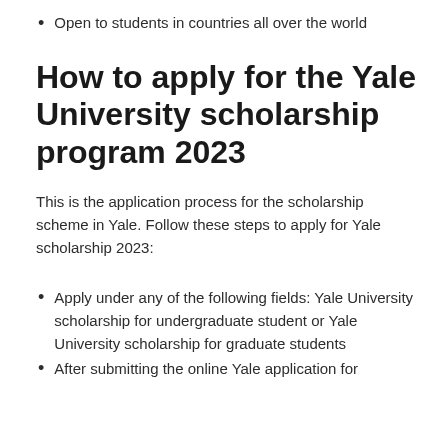Open to students in countries all over the world
How to apply for the Yale University scholarship program 2023
This is the application process for the scholarship scheme in Yale. Follow these steps to apply for Yale scholarship 2023:
Apply under any of the following fields: Yale University scholarship for undergraduate student or Yale University scholarship for graduate students
After submitting the online Yale application for...